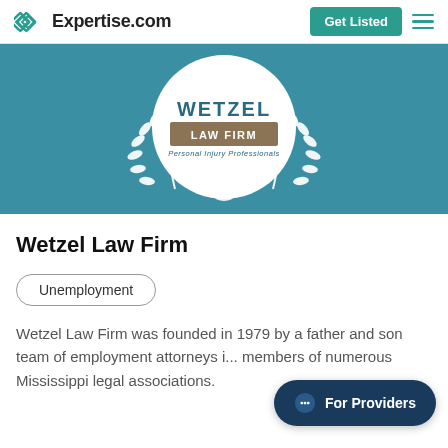Expertise.com
[Figure (logo): Wetzel Law Firm logo inside a white circle with laurel wreath on a teal background banner]
Wetzel Law Firm
Unemployment
Wetzel Law Firm was founded in 1979 by a father and son team of employment attorneys i... members of numerous Mississippi legal associations.